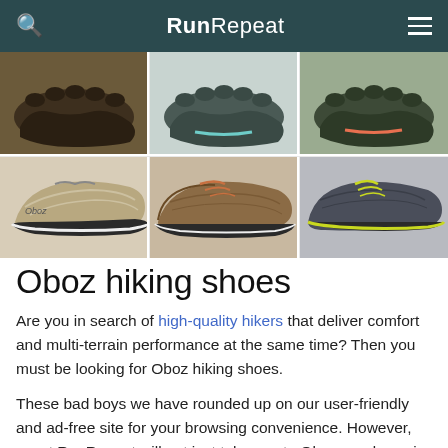RunRepeat
[Figure (photo): Six Oboz hiking shoes displayed in two rows of three: top row shows bottoms/soles of three shoes in dark tones; bottom row shows three Oboz hiking shoes from the side — a tan/beige shoe (labeled Oboz), a brown leather shoe, and a dark grey/yellow shoe.]
Oboz hiking shoes
Are you in search of high-quality hikers that deliver comfort and multi-terrain performance at the same time? Then you must be looking for Oboz hiking shoes.
These bad boys we have rounded up on our user-friendly and ad-free site for your browsing convenience. However, we at RunRepeat will not just take you to Oboz goodness in a heartbeat—we will also spoil you with the hottest deals on them!